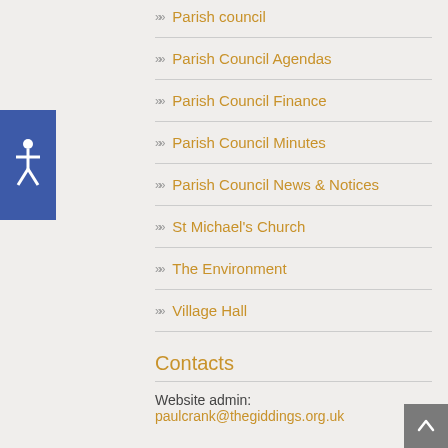[Figure (illustration): Blue accessibility button with white human figure icon (wheelchair accessibility symbol)]
Parish council
Parish Council Agendas
Parish Council Finance
Parish Council Minutes
Parish Council News & Notices
St Michael's Church
The Environment
Village Hall
Contacts
Website admin: paulcrank@thegiddings.org.uk